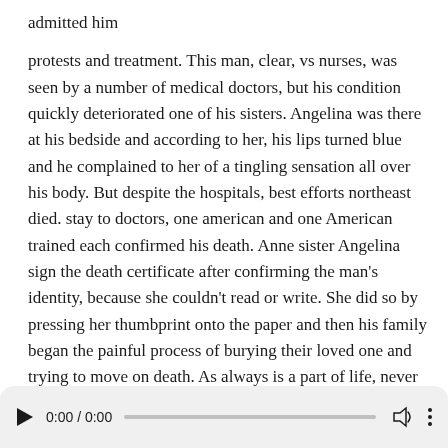admitted him
protests and treatment. This man, clear, vs nurses, was seen by a number of medical doctors, but his condition quickly deteriorated one of his sisters. Angelina was there at his bedside and according to her, his lips turned blue and he complained to her of a tingling sensation all over his body. But despite the hospitals, best efforts northeast died. stay to doctors, one american and one American trained each confirmed his death. Anne sister Angelina sign the death certificate after confirming the man's identity, because she couldn't read or write. She did so by pressing her thumbprint onto the paper and then his family began the painful process of burying their loved one and trying to move on death. As always is a part of life, never a pleasant
[Figure (other): Audio player bar with play button, time display 0:00 / 0:00, progress track, volume icon, and more options icon]